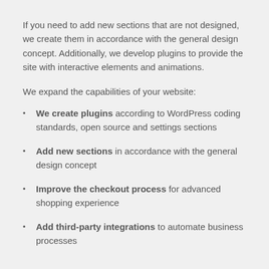If you need to add new sections that are not designed, we create them in accordance with the general design concept. Additionally, we develop plugins to provide the site with interactive elements and animations.
We expand the capabilities of your website:
We create plugins according to WordPress coding standards, open source and settings sections
Add new sections in accordance with the general design concept
Improve the checkout process for advanced shopping experience
Add third-party integrations to automate business processes